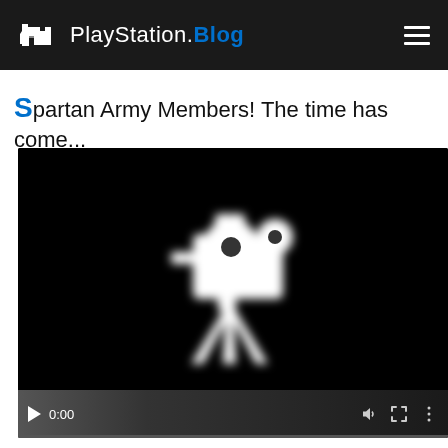PlayStation.Blog
Spartan Army Members! The time has come...
[Figure (screenshot): Embedded video player with black background showing a white cartoon movie camera on a tripod icon. Video controls visible at bottom: play button, time 0:00, volume, fullscreen, and menu icons. Progress bar along the bottom.]